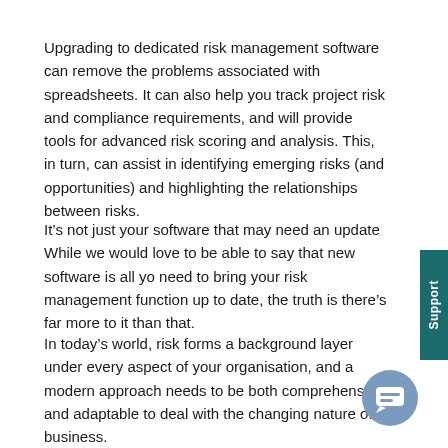Upgrading to dedicated risk management software can remove the problems associated with spreadsheets. It can also help you track project risk and compliance requirements, and will provide tools for advanced risk scoring and analysis. This, in turn, can assist in identifying emerging risks (and opportunities) and highlighting the relationships between risks.
It’s not just your software that may need an update While we would love to be able to say that new software is all you need to bring your risk management function up to date, the truth is there’s far more to it than that.
In today’s world, risk forms a background layer under every aspect of your organisation, and a modern approach needs to be both comprehensive and adaptable to deal with the changing nature of business.